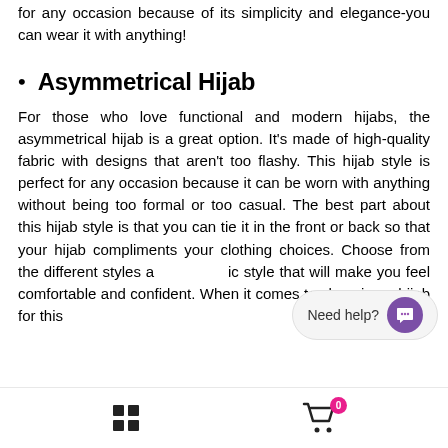for any occasion because of its simplicity and elegance-you can wear it with anything!
Asymmetrical Hijab
For those who love functional and modern hijabs, the asymmetrical hijab is a great option. It's made of high-quality fabric with designs that aren't too flashy. This hijab style is perfect for any occasion because it can be worn with anything without being too formal or too casual. The best part about this hijab style is that you can tie it in the front or back so that your hijab compliments your clothing choices. Choose from the different styles and pick a style that will make you feel comfortable and confident. When it comes to choosing a hijab for this